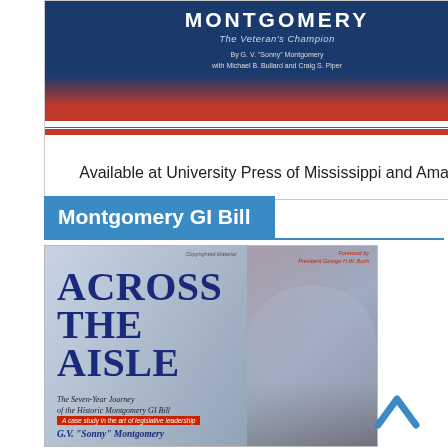[Figure (illustration): Book cover for Montgomery: The Veteran's Champion, with blue top, red bottom, and white stripe. Author: G.V. 'Sonny' Montgomery with Michael B. Ballard and Craig S. Piper.]
Available at University Press of Mississippi and Amazon
Montgomery GI Bill
[Figure (illustration): Book cover for 'Across the Aisle: The Seven-Year Journey of the Historic Montgomery GI Bill' by G.V. 'Sonny' Montgomery. Foreword by President George H.W. Bush. Features large blue serif title text and photo of smiling man in suit against American flag background.]